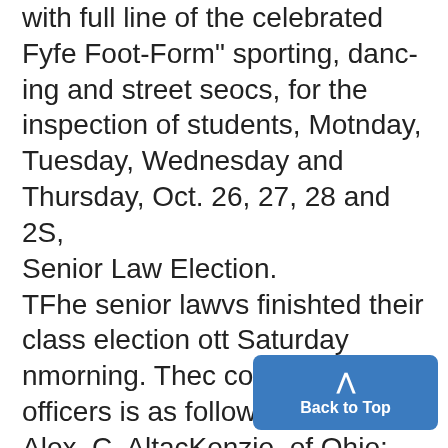with full line of the celebrated Fyfe Foot-Form" sporting, dancing and street seocs, for the inspection of students, Motnday, Tuesday, Wednesday and Thursday, Oct. 26, 27, 28 and 2S, Senior Law Election. TFhe senior lawvs finishted their class election ott Saturday nmorning. Thec conmplete list of officers is as follows: President, Alex. C. AltacKenzie, of Ohio; first-vice president, J. A. Bolard, of taennsylvattia; second vice president, H. A. Snmith, of Utah